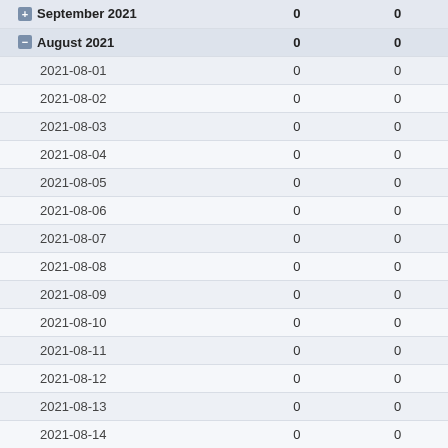| Date |  |  |
| --- | --- | --- |
| September 2021 | 0 | 0 |
| August 2021 | 0 | 0 |
| 2021-08-01 | 0 | 0 |
| 2021-08-02 | 0 | 0 |
| 2021-08-03 | 0 | 0 |
| 2021-08-04 | 0 | 0 |
| 2021-08-05 | 0 | 0 |
| 2021-08-06 | 0 | 0 |
| 2021-08-07 | 0 | 0 |
| 2021-08-08 | 0 | 0 |
| 2021-08-09 | 0 | 0 |
| 2021-08-10 | 0 | 0 |
| 2021-08-11 | 0 | 0 |
| 2021-08-12 | 0 | 0 |
| 2021-08-13 | 0 | 0 |
| 2021-08-14 | 0 | 0 |
| 2021-08-15 | 0 | 0 |
| 2021-08-16 | 0 | 0 |
| 2021-08-17 | 0 | 0 |